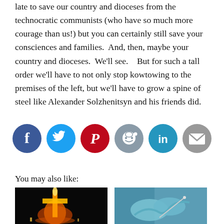late to save our country and dioceses from the technocratic communists (who have so much more courage than us!) but you can certainly still save your consciences and families.  And, then, maybe your country and dioceses.  We'll see.   But for such a tall order we'll have to not only stop kowtowing to the premises of the left, but we'll have to grow a spine of steel like Alexander Solzhenitsyn and his friends did.
[Figure (infographic): Social media sharing icons: Facebook (dark blue circle with f), Twitter (light blue circle with bird), Pinterest (red circle with P), Reddit (grey circle with alien), LinkedIn (teal circle with in), Email (grey circle with envelope)]
You may also like:
[Figure (photo): A burning cross or fire cross at night against a dark sky, with fire and lights visible at the base]
[Figure (photo): Close-up of gloved hands, medical/surgical context with blue/teal gloves]